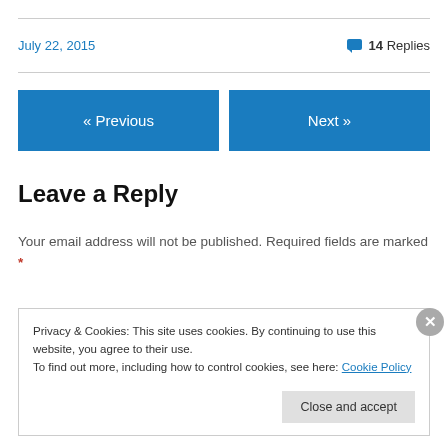July 22, 2015
💬 14 Replies
« Previous
Next »
Leave a Reply
Your email address will not be published. Required fields are marked *
Privacy & Cookies: This site uses cookies. By continuing to use this website, you agree to their use.
To find out more, including how to control cookies, see here: Cookie Policy
Close and accept